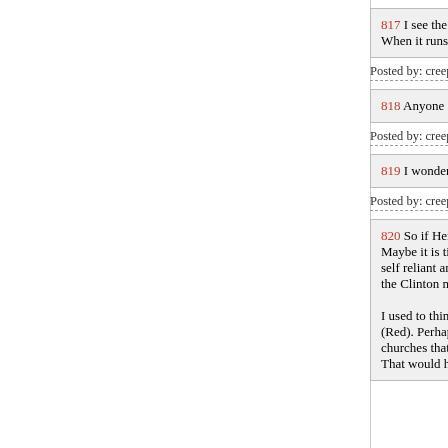817 I see the mainspring on our clock is still no When it runs down completely does the blog fre
Posted by: creeper, the deplorable at November 08, 201
818 Anyone else want to run away from home f
Posted by: creeper, the deplorable at November 08, 201
819 I wonder if it's as warm where Janet is now
Posted by: creeper, the deplorable at November 08, 201
820 So if Her Heinous wins: Maybe it is time to go Galt. Reduce my footprin self reliant and turning to barter that avoids taxe the Clinton machine. I used to think about giving all of my inheritanc (Red). Perhaps, in the end, everything will go to churches that makes sure it all goes for the orph That would help make up for the Clinton rape o